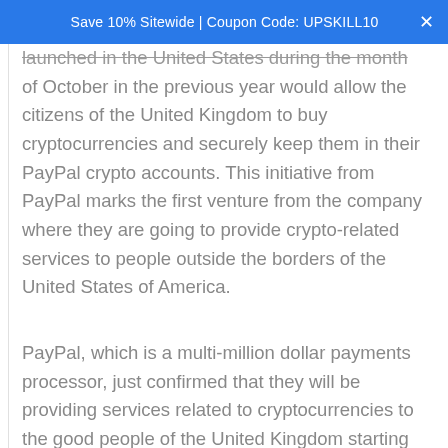Save 10% Sitewide | Coupon Code: UPSKILL10
launched in the United States during the month of October in the previous year would allow the citizens of the United Kingdom to buy cryptocurrencies and securely keep them in their PayPal crypto accounts. This initiative from PayPal marks the first venture from the company where they are going to provide crypto-related services to people outside the borders of the United States of America.
PayPal, which is a multi-million dollar payments processor, just confirmed that they will be providing services related to cryptocurrencies to the good people of the United Kingdom starting right from next week while expanding into foreign territory with their array of services. According to the suggested reports, it is confirmed that the services will be quite similar